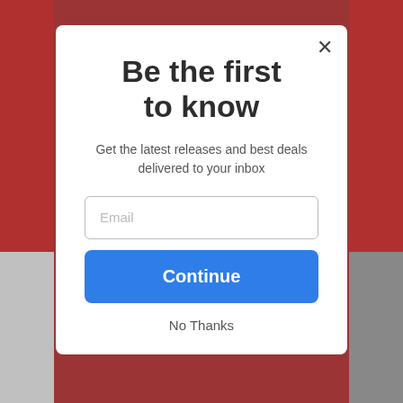[Figure (screenshot): Website popup modal overlay on a dark reddish background with blurred content behind it]
Be the first to know
Get the latest releases and best deals delivered to your inbox
No Thanks